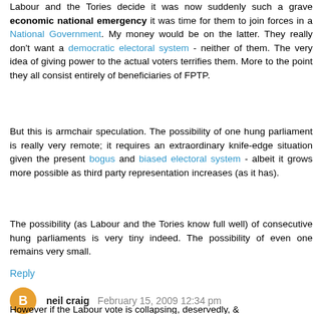Labour and the Tories decide it was now suddenly such a grave economic national emergency it was time for them to join forces in a National Government. My money would be on the latter. They really don't want a democratic electoral system - neither of them. The very idea of giving power to the actual voters terrifies them. More to the point they all consist entirely of beneficiaries of FPTP.
But this is armchair speculation. The possibility of one hung parliament is really very remote; it requires an extraordinary knife-edge situation given the present bogus and biased electoral system - albeit it grows more possible as third party representation increases (as it has).
The possibility (as Labour and the Tories know full well) of consecutive hung parliaments is very tiny indeed. The possibility of even one remains very small.
Reply
neil craig  February 15, 2009 12:34 pm
However if the Labour vote is collapsing, deservedly, &